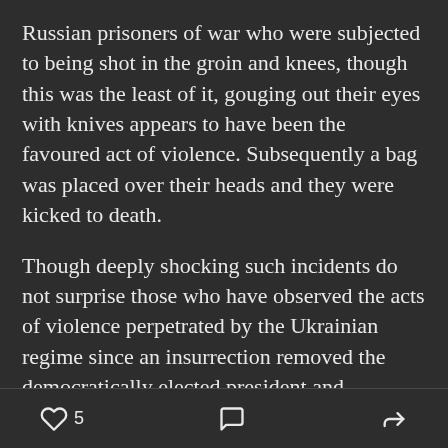Russian prisoners of war who were subjected to being shot in the groin and knees, though this was the least of it, gouging out their eyes with knives appears to have been the favoured act of violence. Subsequently a bag was placed over their heads and they were kicked to death.
Though deeply shocking such incidents do not surprise those who have observed the acts of violence perpetrated by the Ukrainian regime since an insurrection removed the democratically elected president and government of Ukraine in 2014. These acts of violence, against the civilian population of the
5 [heart icon] [comment icon] [share icon]